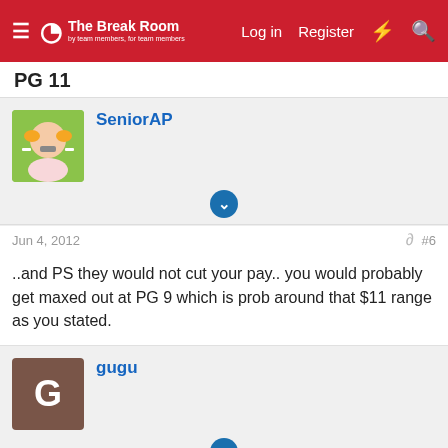The Break Room — Log in | Register
PG 11
SeniorAP
Jun 4, 2012  #6
..and PS they would not cut your pay.. you would probably get maxed out at PG 9 which is prob around that $11 range as you stated.
gugu
Jun 4, 2012  Thread Starter  #7